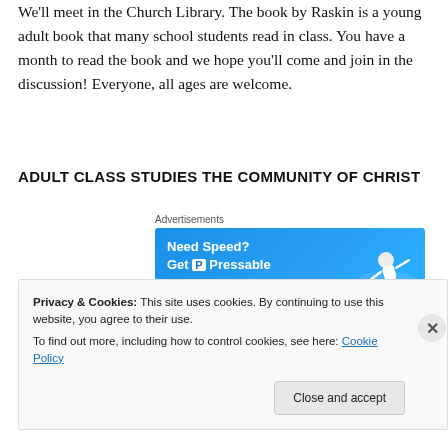We'll meet in the Church Library. The book by Raskin is a young adult book that many school students read in class. You have a month to read the book and we hope you'll come and join in the discussion! Everyone, all ages are welcome.
ADULT CLASS STUDIES THE COMMUNITY OF CHRIST
Advertisements
[Figure (other): Blue advertisement banner reading 'Need Speed? Get P Pressable' with a jumping person graphic]
REPORT THIS AD
A second adult class meets each Sunday for adults
Privacy & Cookies: This site uses cookies. By continuing to use this website, you agree to their use.
To find out more, including how to control cookies, see here: Cookie Policy
Close and accept